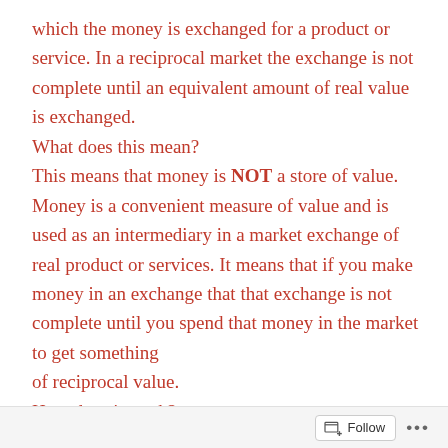which the money is exchanged for a product or service. In a reciprocal market the exchange is not complete until an equivalent amount of real value is exchanged. What does this mean? This means that money is NOT a store of value. Money is a convenient measure of value and is used as an intermediary in a market exchange of real product or services. It means that if you make money in an exchange that that exchange is not complete until you spend that money in the market to get something of reciprocal value. How does it work? First of all the ReciproMARKET assumes the individuals understand the reciprocal nature of a market and that money is not a store of value but is an intermediary in the exchange of value. In addition to this ReciproMARKET has
Follow